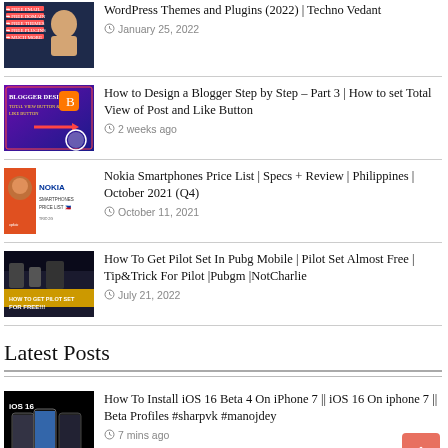[Figure (screenshot): WordPress themed thumbnail with text: FREE EMAIL, FREE DOMAIN, FREE THEMES, FREE PLUGINS, MUCH MORE]
WordPress Themes and Plugins (2022) | Techno Vedant
January 25, 2022
[Figure (screenshot): Blogger Design tutorial thumbnail - BLOGGER DESIGN, TOTAL VIEW BUTTON & LIKE BUTTON]
How to Design a Blogger Step by Step – Part 3 | How to set Total View of Post and Like Button
2 weeks ago
[Figure (screenshot): Nokia Smartphones Price List thumbnail with Nash Tec branding]
Nokia Smartphones Price List | Specs + Review | Philippines | October 2021 (Q4)
October 11, 2021
[Figure (screenshot): PUBG Mobile Pilot Set thumbnail - HOW TO GET PILOT SET FOR FREE!!!]
How To Get Pilot Set In Pubg Mobile | Pilot Set Almost Free | Tip&Trick For Pilot |Pubgm |NotCharlie
July 21, 2022
Latest Posts
[Figure (screenshot): iOS 16 thumbnail showing iPhone 7 with iOS 16 Beta 4]
How To Install iOS 16 Beta 4 On iPhone 7 || iOS 16 On iphone 7 || Beta Profiles #sharpvk #manojdey
7 mins ago